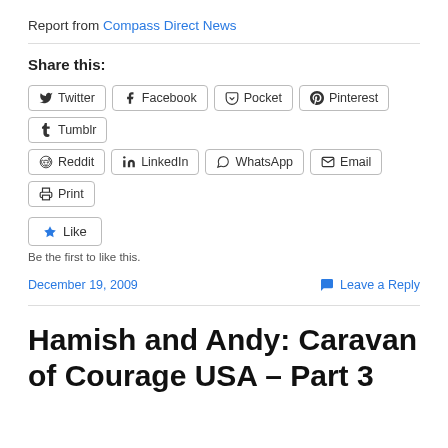Report from Compass Direct News
Share this:
Twitter  Facebook  Pocket  Pinterest  Tumblr  Reddit  LinkedIn  WhatsApp  Email  Print
Like
Be the first to like this.
December 19, 2009
Leave a Reply
Hamish and Andy: Caravan of Courage USA – Part 3